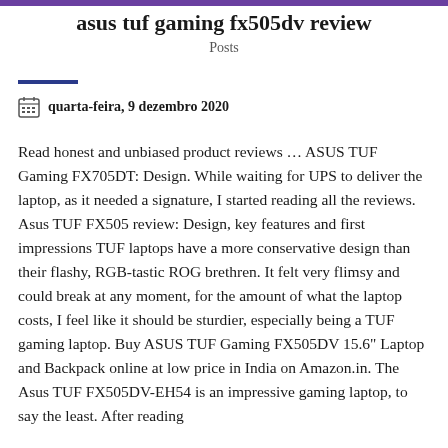asus tuf gaming fx505dv review
Posts
quarta-feira, 9 dezembro 2020
Read honest and unbiased product reviews … ASUS TUF Gaming FX705DT: Design. While waiting for UPS to deliver the laptop, as it needed a signature, I started reading all the reviews. Asus TUF FX505 review: Design, key features and first impressions TUF laptops have a more conservative design than their flashy, RGB-tastic ROG brethren. It felt very flimsy and could break at any moment, for the amount of what the laptop costs, I feel like it should be sturdier, especially being a TUF gaming laptop. Buy ASUS TUF Gaming FX505DV 15.6" Laptop and Backpack online at low price in India on Amazon.in. The Asus TUF FX505DV-EH54 is an impressive gaming laptop, to say the least. After reading